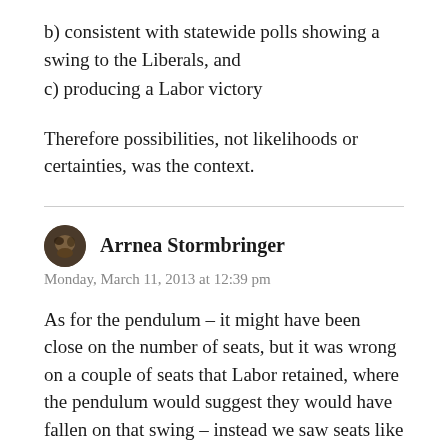b) consistent with statewide polls showing a swing to the Liberals, and
c) producing a Labor victory
Therefore possibilities, not likelihoods or certainties, was the context.
Arrnea Stormbringer
Monday, March 11, 2013 at 12:39 pm
As for the pendulum – it might have been close on the number of seats, but it was wrong on a couple of seats that Labor retained, where the pendulum would suggest they would have fallen on that swing – instead we saw seats like